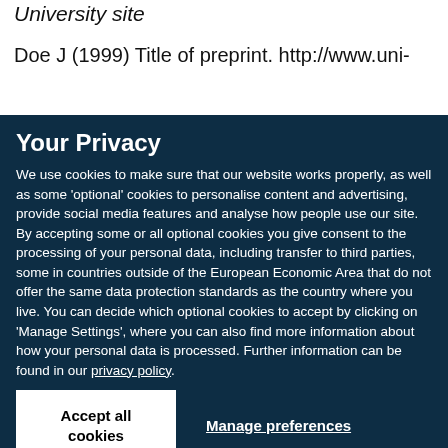University site
Doe J (1999) Title of preprint. http://www.uni-
Your Privacy
We use cookies to make sure that our website works properly, as well as some ‘optional’ cookies to personalise content and advertising, provide social media features and analyse how people use our site. By accepting some or all optional cookies you give consent to the processing of your personal data, including transfer to third parties, some in countries outside of the European Economic Area that do not offer the same data protection standards as the country where you live. You can decide which optional cookies to accept by clicking on ‘Manage Settings’, where you can also find more information about how your personal data is processed. Further information can be found in our privacy policy.
Accept all cookies
Manage preferences